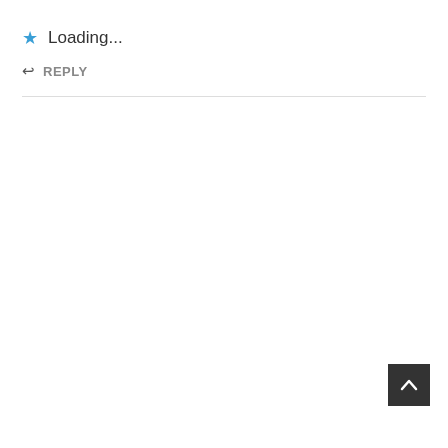Loading...
REPLY
[Figure (other): Back to top button — dark square button with a white upward chevron arrow, positioned at bottom right]